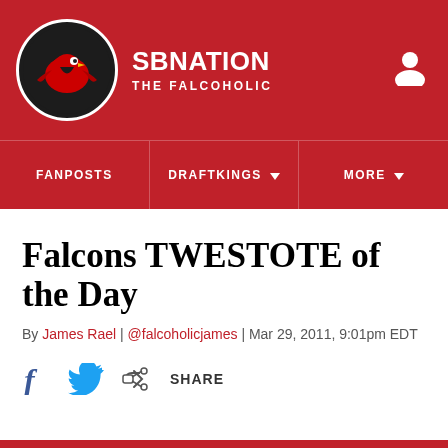SB NATION / THE FALCOHOLIC
FANPOSTS | DRAFTKINGS | MORE
Falcons TWESTOTE of the Day
By James Rael | @falcoholicjames | Mar 29, 2011, 9:01pm EDT
SHARE